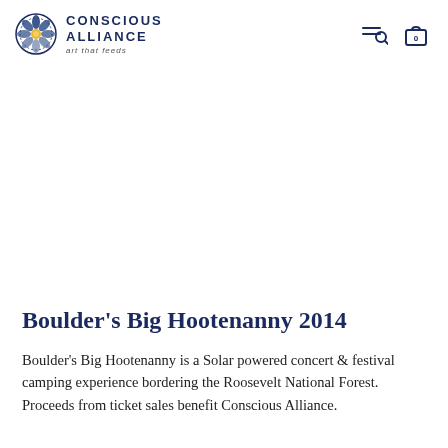Conscious Alliance — art that feeds
[Figure (photo): Large white/blank image area representing a photo placeholder for Boulder's Big Hootenanny event]
Boulder's Big Hootenanny 2014
Boulder's Big Hootenanny is a Solar powered concert & festival camping experience bordering the Roosevelt National Forest. Proceeds from ticket sales benefit Conscious Alliance.